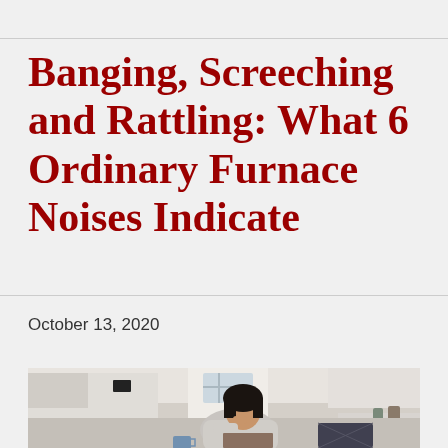Banging, Screeching and Rattling: What 6 Ordinary Furnace Noises Indicate
October 13, 2020
[Figure (photo): A woman sitting indoors, leaning forward with her hand on her face in a stressed or thoughtful pose, with a bright hallway and white kitchen cabinets visible in the background.]